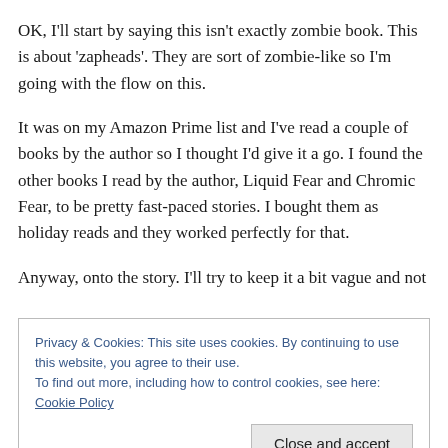OK, I'll start by saying this isn't exactly zombie book. This is about 'zapheads'. They are sort of zombie-like so I'm going with the flow on this.
It was on my Amazon Prime list and I've read a couple of books by the author so I thought I'd give it a go. I found the other books I read by the author, Liquid Fear and Chromic Fear, to be pretty fast-paced stories. I bought them as holiday reads and they worked perfectly for that.
Anyway, onto the story. I'll try to keep it a bit vague and not
Privacy & Cookies: This site uses cookies. By continuing to use this website, you agree to their use.
To find out more, including how to control cookies, see here: Cookie Policy
attacking and killing people. They seem to be full of hate